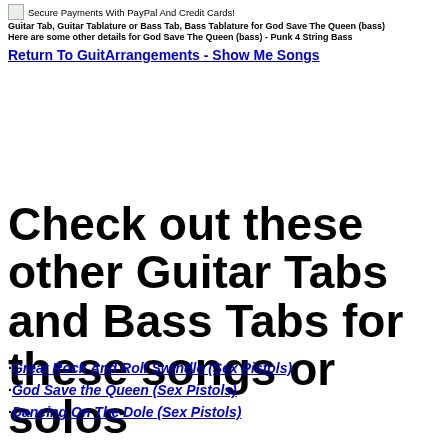Secure Payments With PayPal And Credit Cards! | Guitar Tab, Guitar Tablature or Bass Tab, Bass Tablature for God Save The Queen (bass) | Here are some other details for God Save The Queen (bass) - Punk 4 String Bass
Return To GuitArrangements - Show Me Songs
Check out these other Guitar Tabs and Bass Tabs for these songs or solos
·Great Rock And Roll Swindle (Sex Pistols)
·God Save the Queen (Sex Pistols)
·Dancing On The Dole (Sex Pistols)